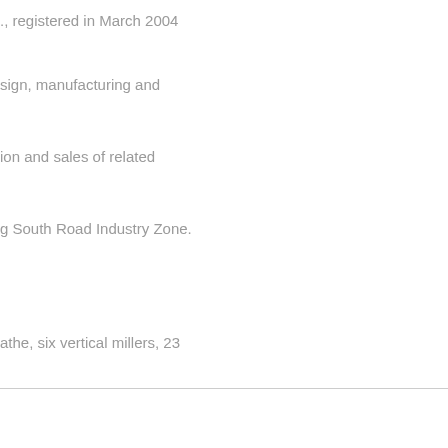., registered in March 2004
sign, manufacturing and
ion and sales of related
g South Road Industry Zone.
athe, six vertical millers, 23